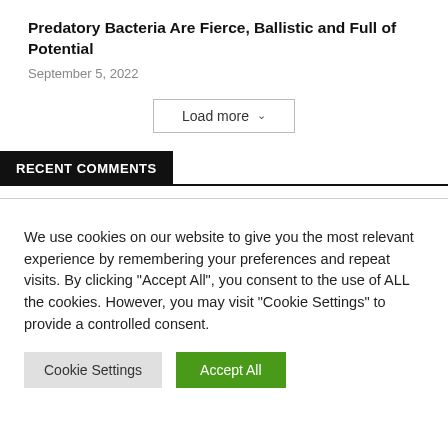Predatory Bacteria Are Fierce, Ballistic and Full of Potential
September 5, 2022
Load more
RECENT COMMENTS
We use cookies on our website to give you the most relevant experience by remembering your preferences and repeat visits. By clicking "Accept All", you consent to the use of ALL the cookies. However, you may visit "Cookie Settings" to provide a controlled consent.
Cookie Settings
Accept All